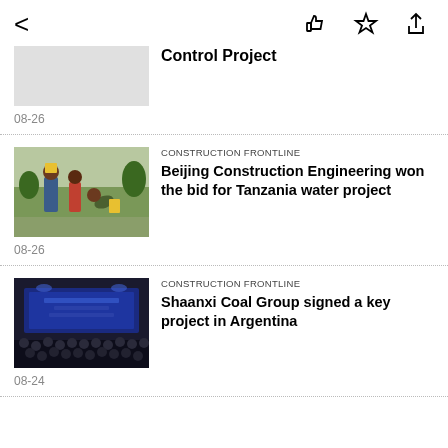< [like] [star] [share]
Control Project
08-26
CONSTRUCTION FRONTLINE
Beijing Construction Engineering won the bid for Tanzania water project
08-26
CONSTRUCTION FRONTLINE
Shaanxi Coal Group signed a key project in Argentina
08-24